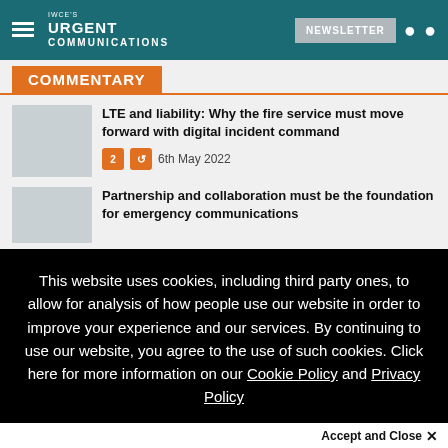IWCE's URGENT COMMUNICATIONS | NEWSLETTER
COMMENTARY
LTE and liability: Why the fire service must move forward with digital incident command
6th May 2022
Partnership and collaboration must be the foundation for emergency communications
This website uses cookies, including third party ones, to allow for analysis of how people use our website in order to improve your experience and our services. By continuing to use our website, you agree to the use of such cookies. Click here for more information on our Cookie Policy and Privacy Policy
Accept and Close ✕
Your browser settings do not allow cross-site tracking for advertising. Click on this page to allow AdRoll to use cross-site tracking to tailor ads to you. Learn more or opt out of this AdRoll tracking by clicking here. This message only appears once.